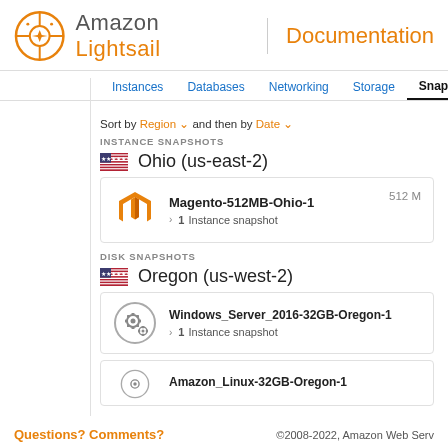Amazon Lightsail | Documentation
Instances  Databases  Networking  Storage  Snapshots
Sort by Region and then by Date
INSTANCE SNAPSHOTS
Ohio (us-east-2)
Magento-512MB-Ohio-1  512 M
> 1 Instance snapshot
DISK SNAPSHOTS
Oregon (us-west-2)
Windows_Server_2016-32GB-Oregon-1
> 1 Instance snapshot
Amazon_Linux-32GB-Oregon-1
Questions? Comments?  ©2008-2022, Amazon Web Serv